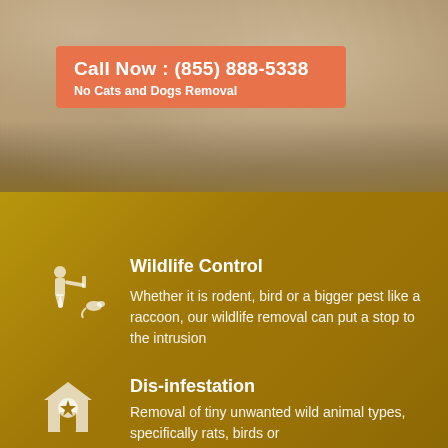[Figure (photo): Close-up photo of a fluffy cat or similar animal, blurred background, warm beige/tan tones]
Call Now : (855) 888-5338
No Cats and Dogs Removal
Wildlife Control
Whether it is rodent, bird or a bigger pest like a raccoon, our wildlife removal can put a stop to the intrusion
Dis-infestation
Removal of tiny unwanted wild animal types, specifically rats, birds or